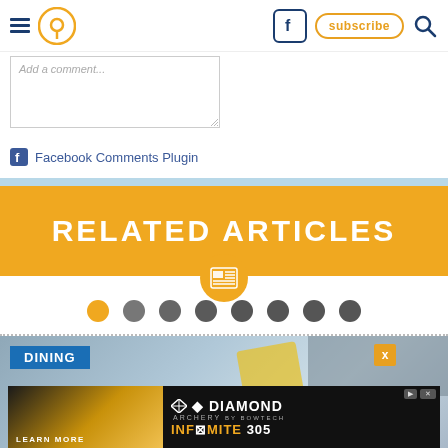Navigation header with hamburger menu, location icon, Facebook icon, subscribe button, search icon
Add a comment...
Facebook Comments Plugin
RELATED ARTICLES
[Figure (infographic): Pagination dots row with first dot highlighted in orange and remaining 7 dots in gray]
[Figure (photo): Article image with DINING badge overlay, showing rooftop/outdoor scene]
[Figure (photo): Diamond Archery advertisement banner showing compound bow and INFINITE 305 text with LEARN MORE call to action]